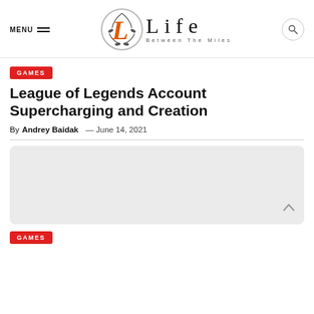MENU | Life Between The Miles
GAMES
League of Legends Account Supercharging and Creation
By Andrey Baidak — June 14, 2021
[Figure (photo): Placeholder image area with light gray background and rounded corners, with a scroll-to-top chevron arrow in the bottom right]
GAMES